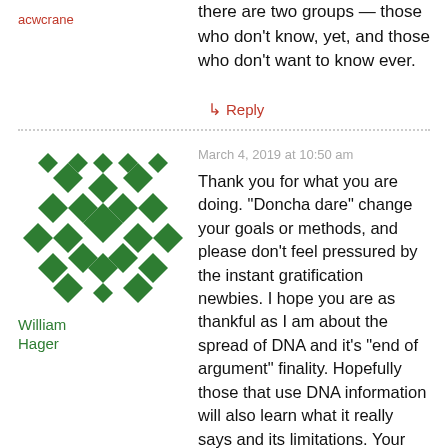there are two groups — those who don't know, yet, and those who don't want to know ever.
acwcrane
↳ Reply
[Figure (illustration): Green geometric identicon avatar for William Hager]
March 4, 2019 at 10:50 am
William Hager
Thank you for what you are doing. "Doncha dare" change your goals or methods, and please don't feel pressured by the instant gratification newbies. I hope you are as thankful as I am about the spread of DNA and it's "end of argument" finality. Hopefully those that use DNA information will also learn what it really says and its limitations. Your work is very valuable. Keep the faith. Bill